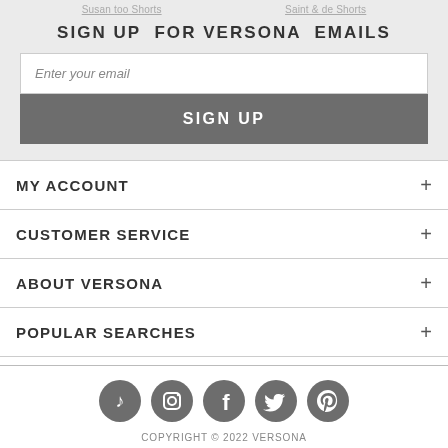Susan too Shorts   Saint & de Shorts
SIGN UP FOR VERSONA EMAILS
Enter your email
SIGN UP
MY ACCOUNT
CUSTOMER SERVICE
ABOUT VERSONA
POPULAR SEARCHES
[Figure (infographic): Social media icons: TikTok, Instagram, Facebook, Twitter, Pinterest]
COPYRIGHT © 2022 VERSONA